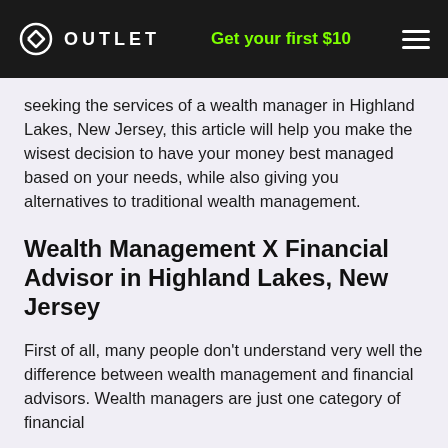OUTLET | Get your first $10
seeking the services of a wealth manager in Highland Lakes, New Jersey, this article will help you make the wisest decision to have your money best managed based on your needs, while also giving you alternatives to traditional wealth management.
Wealth Management X Financial Advisor in Highland Lakes, New Jersey
First of all, many people don't understand very well the difference between wealth management and financial advisors. Wealth managers are just one category of financial